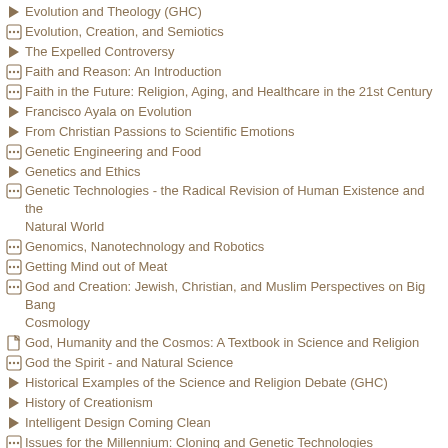Evolution and Theology (GHC)
Evolution, Creation, and Semiotics
The Expelled Controversy
Faith and Reason: An Introduction
Faith in the Future: Religion, Aging, and Healthcare in the 21st Century
Francisco Ayala on Evolution
From Christian Passions to Scientific Emotions
Genetic Engineering and Food
Genetics and Ethics
Genetic Technologies - the Radical Revision of Human Existence and the Natural World
Genomics, Nanotechnology and Robotics
Getting Mind out of Meat
God and Creation: Jewish, Christian, and Muslim Perspectives on Big Bang Cosmology
God, Humanity and the Cosmos: A Textbook in Science and Religion
God the Spirit - and Natural Science
Historical Examples of the Science and Religion Debate (GHC)
History of Creationism
Intelligent Design Coming Clean
Issues for the Millennium: Cloning and Genetic Technologies
Jean Vanier of L'Arche
Nano-Technology and Nano-ethics
Natural Science and Christian Theology - A Select Bibliography
Neuroscience and the Soul
Outlines of the Science and Religion Debate (GHC)
Perspectives on Evolution
Physics and Theology
Quantum Mechanics and Theology (GHC)